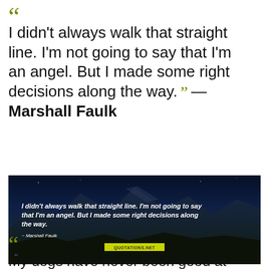“ I didn't always walk that straight line. I'm not going to say that I'm an angel. But I made some right decisions along the way. ” — Marshall Faulk
[Figure (photo): Dark nighttime landscape photo with mountains in background and rocky foreground, overlaid with white italic text of the Marshall Faulk quote and a yellow watermark label.]
“ My dogs have never been good at things like